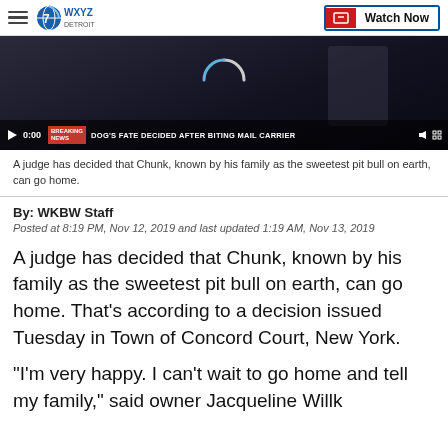WXYZ Detroit — Watch Now
[Figure (screenshot): Video player thumbnail showing dark scene with loading spinner and chyron reading DOG'S FATE DECIDED AFTER BITING MAIL CARRIER, timestamp 0:00]
A judge has decided that Chunk, known by his family as the sweetest pit bull on earth, can go home.
By: WKBW Staff
Posted at 8:19 PM, Nov 12, 2019 and last updated 1:19 AM, Nov 13, 2019
A judge has decided that Chunk, known by his family as the sweetest pit bull on earth, can go home. That's according to a decision issued Tuesday in Town of Concord Court, New York.
"I'm very happy. I can't wait to go home and tell my family," said owner Jacqueline Will...